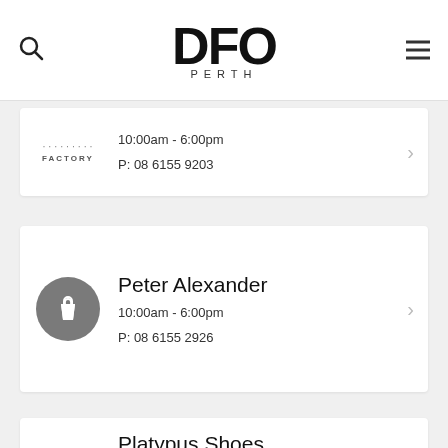DFO PERTH
10:00am - 6:00pm
P: 08 6155 9203
Peter Alexander
10:00am - 6:00pm
P: 08 6155 2926
Platypus Shoes
10:00am - 6:00pm
P: 08 6365 5384